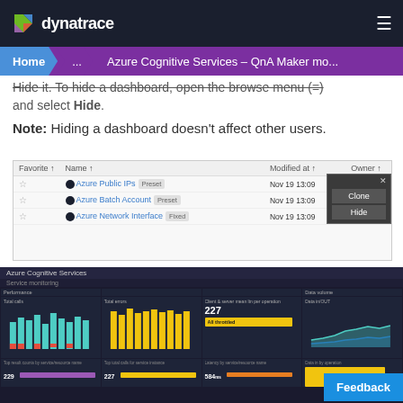dynatrace — navigation header with hamburger menu
Home > ... > Azure Cognitive Services - QnA Maker mo...
Hide it. To hide a dashboard, open the browse menu (≡) and select Hide.
Note: Hiding a dashboard doesn't affect other users.
[Figure (screenshot): Dashboard list showing Azure Public IPs (Preset), Azure Batch Account (Preset), Azure Network Interface (Fixed) with Modified at dates of Nov 19 13:09 and Owner Dynatrace, with a context menu showing Clone and Hide options]
[Figure (screenshot): Azure Cognitive Services dashboard showing Performance and Data volume panels with bar charts, metrics including 227 calls threshold, 229 and 229 success counts, 227 avg response, 584ms and 75ms latency values]